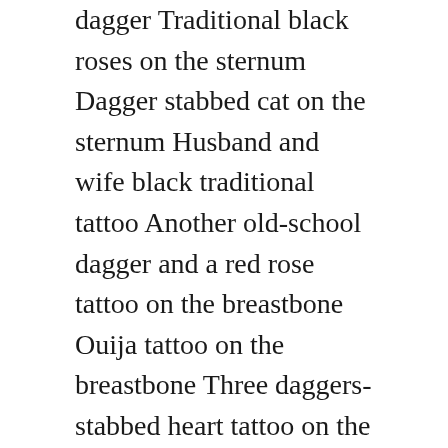dagger Traditional black roses on the sternum Dagger stabbed cat on the sternum Husband and wife black traditional tattoo Another old-school dagger and a red rose tattoo on the breastbone Ouija tattoo on the breastbone Three daggers-stabbed heart tattoo on the sternum Tiger on the sternum and the belly Traditional bat and flowers breastbone tattoo. The way the handle is shaped and the overall palette gives us a beachy feeling.
Daggers or elementary sharp objects have been a significant part of human existence allowing us to hunt eat and survive throughout the ages.